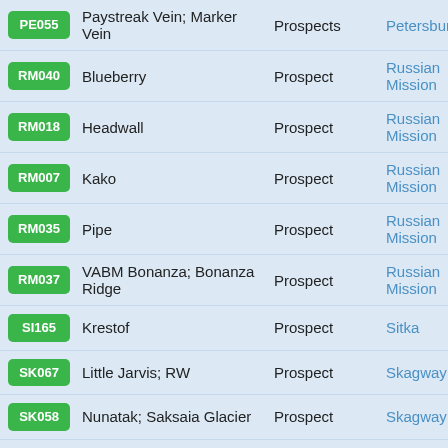| Code | Name | Type | Location |
| --- | --- | --- | --- |
| PE055 | Paystreak Vein; Marker Vein | Prospects | Petersburg |
| RM040 | Blueberry | Prospect | Russian Mission |
| RM018 | Headwall | Prospect | Russian Mission |
| RM007 | Kako | Prospect | Russian Mission |
| RM035 | Pipe | Prospect | Russian Mission |
| RM037 | VABM Bonanza; Bonanza Ridge | Prospect | Russian Mission |
| SI165 | Krestof | Prospect | Sitka |
| SK067 | Little Jarvis; RW | Prospect | Skagway |
| SK058 | Nunatak; Saksaia Glacier | Prospect | Skagway |
| ... | Red Devil Mine | Mine | Sleetmute |